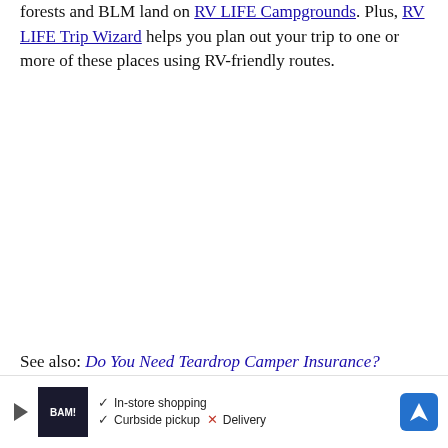forests and BLM land on RV LIFE Campgrounds. Plus, RV LIFE Trip Wizard helps you plan out your trip to one or more of these places using RV-friendly routes.
See also: Do You Need Teardrop Camper Insurance?
[Figure (other): Advertisement banner with BAM! logo, checkmarks for In-store shopping and Curbside pickup, X for Delivery, and a blue navigation arrow icon.]